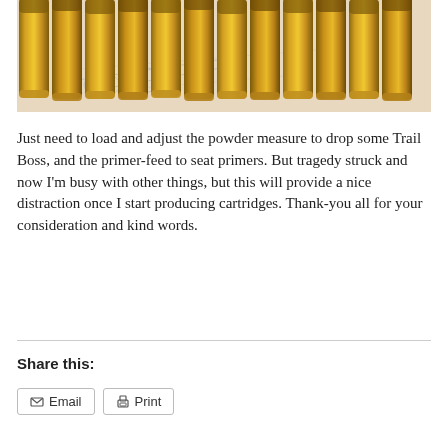[Figure (photo): Photograph of multiple brass bullet cartridges/casings standing upright in a row on a surface with engineering/technical drawings visible beneath them. The casings are golden-yellow brass color.]
Just need to load and adjust the powder measure to drop some Trail Boss, and the primer-feed to seat primers. But tragedy struck and now I'm busy with other things, but this will provide a nice distraction once I start producing cartridges. Thank-you all for your consideration and kind words.
Share this:
Email
Print